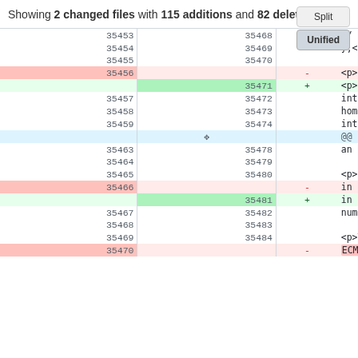Showing 2 changed files with 115 additions and 82 deletions.
[Figure (screenshot): Git diff view showing code changes replacing 'ECMAScript' with 'JavaScript' in HTML documentation, lines 35453-35470+]
| old | new | sign | code |
| --- | --- | --- | --- |
| 35453 | 35468 |  |     // binding-specific interface |
| 35454 | 35469 |  |     };</pre> |
| 35455 | 35470 |  |  |
| 35456 |  |   - |     <p>In ECMAScript, two classes of obje |
|  | 35471 |   + |     <p>In JavaScript, two classes of obje |
| 35457 | 35472 |  |     interface: Numbers representing non-n |
| 35458 | 35473 |  |     homogeneous arrays of Numbers represe |
| 35459 | 35474 |  |     integers. Thus, <code>[1,0,9]</code> |
|  |  |  | @@ -35463,11 +35478,11 @@ interface <df |
| 35463 | 35478 |  |     an integer.</p> |
| 35464 | 35479 |  |  |
| 35465 | 35480 |  |     <p>User agents must always represent |
| 35466 |  |   - |     in ECMAScript by using arrays, even i |
|  | 35481 |   + |     in JavaScript by using arrays, even i |
| 35467 | 35482 |  |     number.</p> |
| 35468 | 35483 |  |  |
| 35469 | 35484 |  |     <p>The root of the tree is represente |
| 35470 |  |   - |     ECMAScript  this is the empty array( |